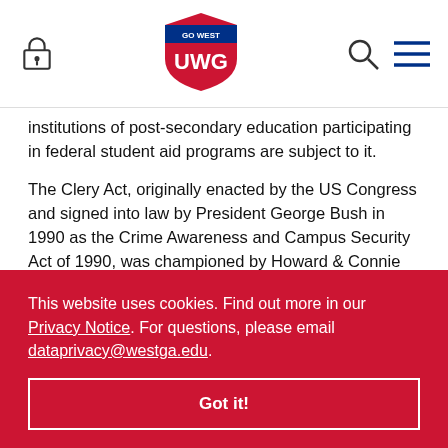UWG Go West header with lock icon, logo, search and menu icons
institutions of post-secondary education participating in federal student aid programs are subject to it.
The Clery Act, originally enacted by the US Congress and signed into law by President George Bush in 1990 as the Crime Awareness and Campus Security Act of 1990, was championed by Howard & Connie Clery after their daughter, Jeanne, was murdered at Lehigh University in
...98 ...ne ...ous ...wn as ...nnually ...ed by federal law 20 USC 1092 (f).
This website uses cookies. Find out more in our Privacy Notice. For questions, please email dataprivacy@westga.edu.
Got it!